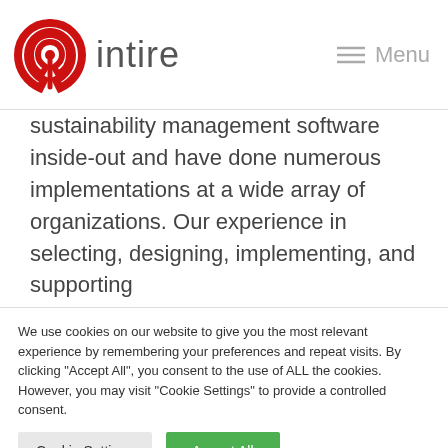[Figure (logo): Intire logo: red circular signal/location icon on left, brand name 'intire' in grey sans-serif on right]
Menu
sustainability management software inside-out and have done numerous implementations at a wide array of organizations. Our experience in selecting, designing, implementing, and supporting
We use cookies on our website to give you the most relevant experience by remembering your preferences and repeat visits. By clicking "Accept All", you consent to the use of ALL the cookies. However, you may visit "Cookie Settings" to provide a controlled consent.
Cookie Settings | Accept All